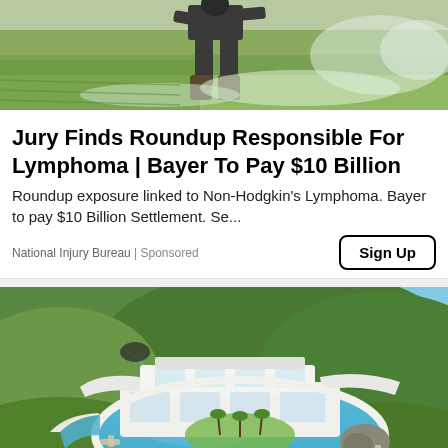[Figure (photo): Person wearing rubber boots spraying herbicide in a green field, viewed from behind, close to ground level]
Jury Finds Roundup Responsible For Lymphoma | Bayer To Pay $10 Billion
Roundup exposure linked to Non-Hodgkin's Lymphoma. Bayer to pay $10 Billion Settlement. Se...
National Injury Bureau | Sponsored
[Figure (photo): Aerial rendering of a luxurious modern white villa with a large circular swimming pool surrounded by tropical greenery, with a city skyline visible in the background]